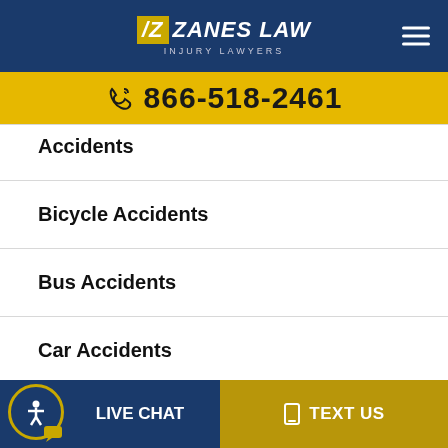Zanes Law Injury Lawyers — 866-518-2461
Accidents (partial)
Bicycle Accidents
Bus Accidents
Car Accidents
Motorcycle Accidents
Pedestrian Accidents
LIVE CHAT   TEXT US